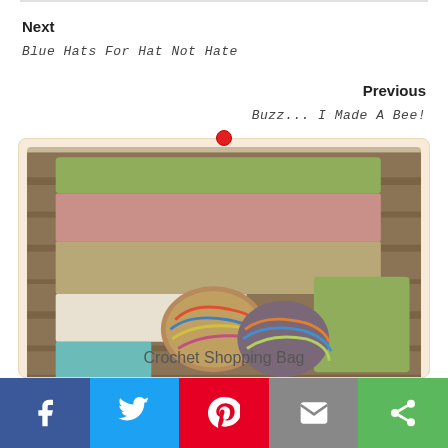Next
Blue Hats For Hat Not Hate
Previous
Buzz... I Made A Bee!
[Figure (photo): A crocheted shopping bag with multicolor stripes (green, pink, tan, white, teal) laid flat on a wood surface, with skeins of multicolored yarn tucked inside.]
Crochet Shopping Bag